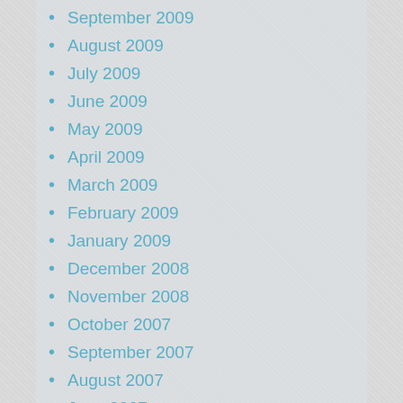September 2009
August 2009
July 2009
June 2009
May 2009
April 2009
March 2009
February 2009
January 2009
December 2008
November 2008
October 2007
September 2007
August 2007
June 2007
May 2007
April 2007
March 2007